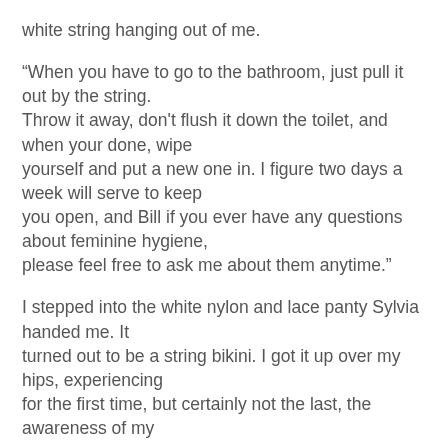white string hanging out of me.
“When you have to go to the bathroom, just pull it out by the string. Throw it away, don’t flush it down the toilet, and when your done, wipe yourself and put a new one in. I figure two days a week will serve to keep you open, and Bill if you ever have any questions about feminine hygiene, please feel free to ask me about them anytime.”
I stepped into the white nylon and lace panty Sylvia handed me. It turned out to be a string bikini. I got it up over my hips, experiencing for the first time, but certainly not the last, the awareness of my